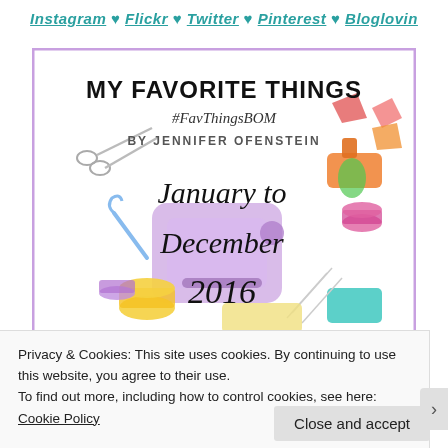Instagram ♥ Flickr ♥ Twitter ♥ Pinterest ♥ Bloglovin
[Figure (illustration): Book of the Month quilt pattern cover image with sewing-themed clip art (scissors, thread, sewing machine, fabric swatches, needles) in pastel colors, purple border. Text reads: MY FAVORITE THINGS #FavThingsBOM BY JENNIFER OFENSTEIN January to December 2016]
Privacy & Cookies: This site uses cookies. By continuing to use this website, you agree to their use.
To find out more, including how to control cookies, see here: Cookie Policy
Close and accept